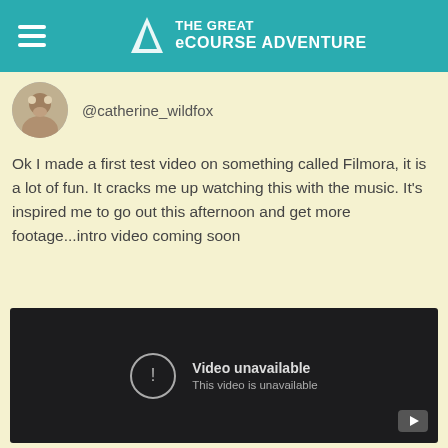The Great eCourse Adventure
@catherine_wildfox
Ok I made a first test video on something called Filmora, it is a lot of fun. It cracks me up watching this with the music. It's inspired me to go out this afternoon and get more footage...intro video coming soon
[Figure (screenshot): Embedded video player showing 'Video unavailable - This video is unavailable' message on a dark background with YouTube logo in bottom right corner]